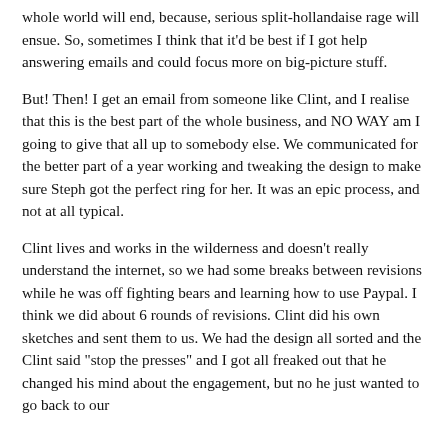whole world will end, because, serious split-hollandaise rage will ensue. So, sometimes I think that it'd be best if I got help answering emails and could focus more on big-picture stuff.
But!  Then!  I get an email from someone like Clint, and I realise that this is the best part of the whole business, and NO WAY am I going to give that all up to somebody else.  We communicated for the better part of a year working and tweaking the design to make sure Steph got the perfect ring for her. It was an epic process, and not at all typical.
Clint lives and works in the wilderness and doesn't really understand the internet, so we had some breaks between revisions while he was off fighting bears and learning how to use Paypal.  I think we did about 6 rounds of revisions.  Clint did his own sketches and sent them to us.  We had the design all sorted and the Clint said "stop the presses" and I got all freaked out that he changed his mind about the engagement, but no he just wanted to go back to our